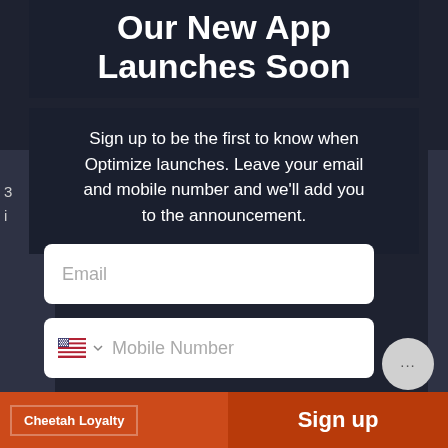Our New App Launches Soon
Sign up to be the first to know when Optimize launches. Leave your email and mobile number and we'll add you to the announcement.
[Figure (screenshot): Email input field (white rounded rectangle with placeholder text 'Email')]
[Figure (screenshot): Mobile number input field with US flag emoji and chevron dropdown, placeholder text 'Mobile Number']
By entering your phone number and submitting this form, you consent to receive marketing text messages from FasCat Coaching at the number provided. Consent is not a condition of any purchase. Message and data rates may apply. Message frequency varies. You can unsubscribe at any time by replying STOP or clicking the unsubscribe link (where available) in one of our messages. View our Privacy Policy and Terms of Service.
Cheetah Loyalty
Sign up